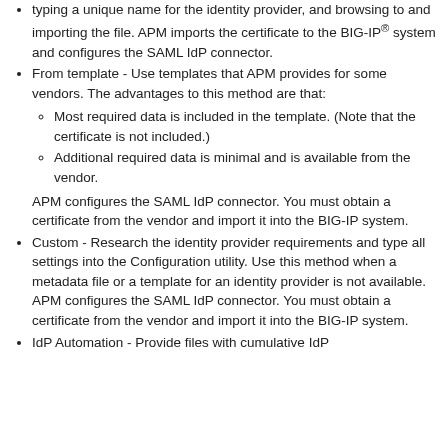typing a unique name for the identity provider, and browsing to and importing the file. APM imports the certificate to the BIG-IP® system and configures the SAML IdP connector.
From template - Use templates that APM provides for some vendors. The advantages to this method are that: Most required data is included in the template. (Note that the certificate is not included.) Additional required data is minimal and is available from the vendor. APM configures the SAML IdP connector. You must obtain a certificate from the vendor and import it into the BIG-IP system.
Custom - Research the identity provider requirements and type all settings into the Configuration utility. Use this method when a metadata file or a template for an identity provider is not available. APM configures the SAML IdP connector. You must obtain a certificate from the vendor and import it into the BIG-IP system.
IdP Automation - Provide files with cumulative IdP